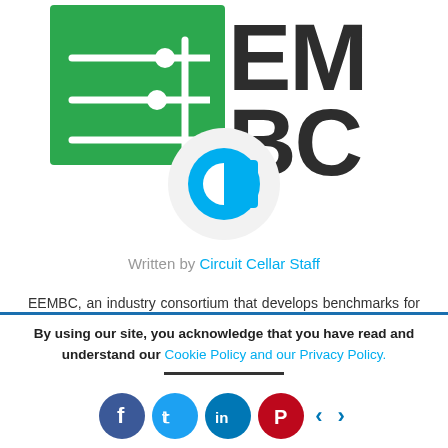[Figure (logo): EEMBC logo: green square with circuit traces and white dots on left, large bold 'EM BC' dark text on right]
[Figure (logo): Circuit Cellar staff avatar: circular icon with cyan 'C' shape on light gray background]
Written by Circuit Cellar Staff
EEMBC, an industry consortium that develops benchmarks for embedded hardware and software, today announced that its SecureMark-TLS benchmark is now available for licensing. Part of the SecureMark benchmarking suite for
By using our site, you acknowledge that you have read and understand our Cookie Policy and our Privacy Policy.
[Figure (infographic): Social sharing buttons: Facebook (blue), Twitter (cyan), LinkedIn (blue), Pinterest (red), left arrow (blue), right arrow (blue)]